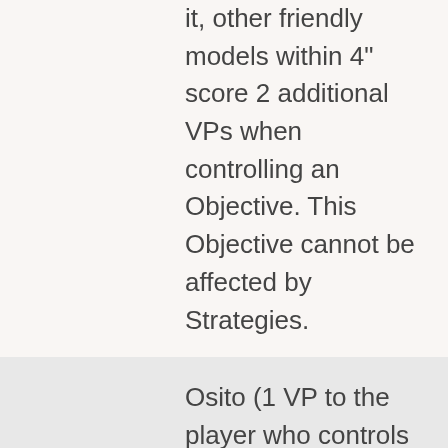Objective controls it, other friendly models within 4" score 2 additional VPs when controlling an Objective. This Objective cannot be affected by Strategies.
Osito (1 VP to the player who controls it): Only Bane Crews can choose this Objective. The Osito marker is